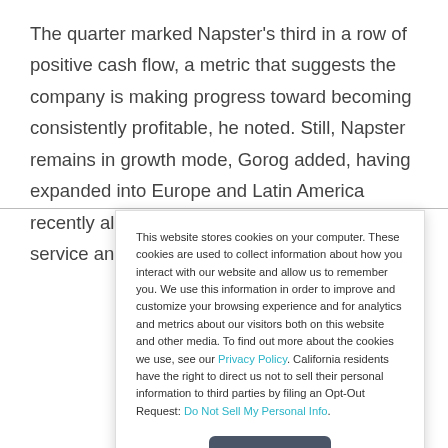The quarter marked Napster's third in a row of positive cash flow, a metric that suggests the company is making progress toward becoming consistently profitable, he noted. Still, Napster remains in growth mode, Gorog added, having expanded into Europe and Latin America recently along with upgrading to its core service and establishing new partners in
This website stores cookies on your computer. These cookies are used to collect information about how you interact with our website and allow us to remember you. We use this information in order to improve and customize your browsing experience and for analytics and metrics about our visitors both on this website and other media. To find out more about the cookies we use, see our Privacy Policy. California residents have the right to direct us not to sell their personal information to third parties by filing an Opt-Out Request: Do Not Sell My Personal Info.